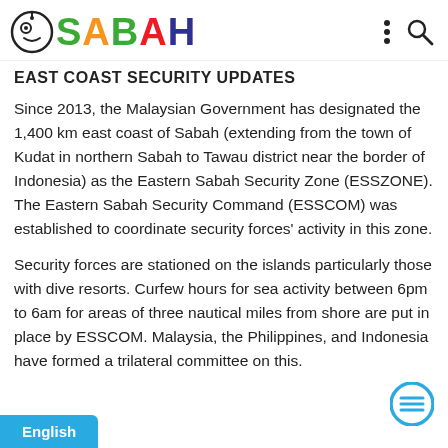Daily Sabah
EAST COAST SECURITY UPDATES
Since 2013, the Malaysian Government has designated the 1,400 km east coast of Sabah (extending from the town of Kudat in northern Sabah to Tawau district near the border of Indonesia) as the Eastern Sabah Security Zone (ESSZONE). The Eastern Sabah Security Command (ESSCOM) was established to coordinate security forces' activity in this zone.
Security forces are stationed on the islands particularly those with dive resorts. Curfew hours for sea activity between 6pm to 6am for areas of three nautical miles from shore are put in place by ESSCOM. Malaysia, the Philippines, and Indonesia have formed a trilateral committee on this.